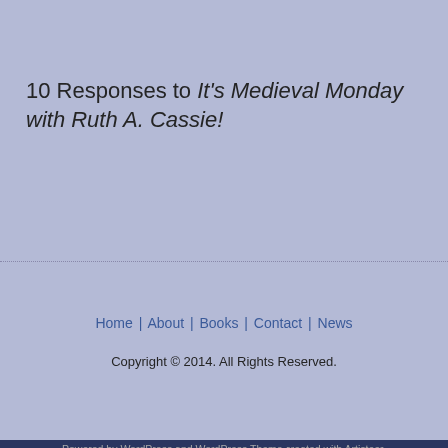10 Responses to It's Medieval Monday with Ruth A. Cassie!
Home | About | Books | Contact | News
Copyright © 2014. All Rights Reserved.
Powered by WordPress and WordPress Theme created with Artisteer.